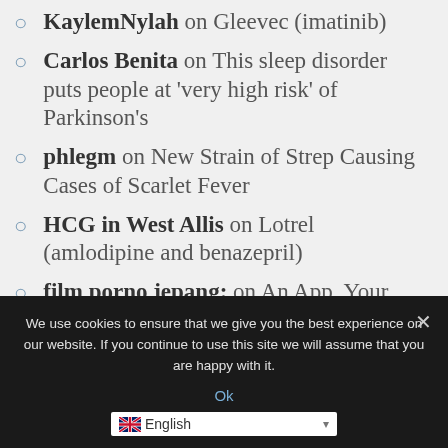KaylemNylah on Gleevec (imatinib)
Carlos Benita on This sleep disorder puts people at ‘very high risk’ of Parkinson’s
phlegm on New Strain of Strep Causing Cases of Scarlet Fever
HCG in West Allis on Lotrel (amlodipine and benazepril)
film porno jepang: on An App, Your
We use cookies to ensure that we give you the best experience on our website. If you continue to use this site we will assume that you are happy with it.
Ok
English